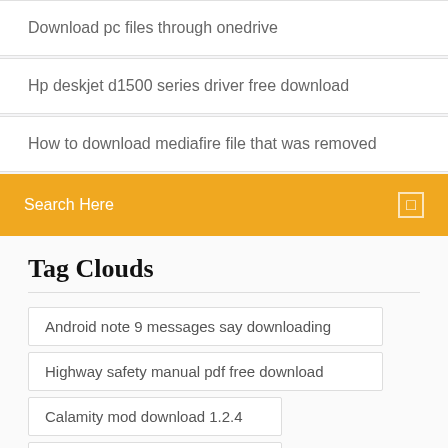Download pc files through onedrive
Hp deskjet d1500 series driver free download
How to download mediafire file that was removed
Search Here
Tag Clouds
Android note 9 messages say downloading
Highway safety manual pdf free download
Calamity mod download 1.2.4
Cleveland clinic logo download